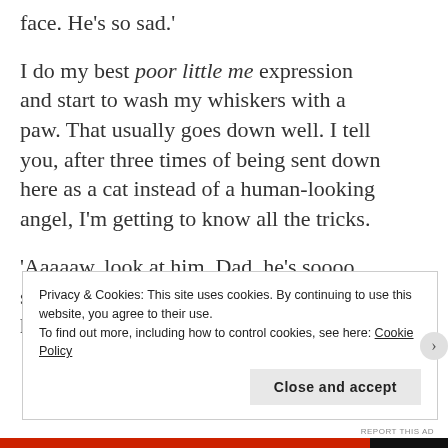face. He’s so sad.’
I do my best poor little me expression and start to wash my whiskers with a paw. That usually goes down well. I tell you, after three times of being sent down here as a cat instead of a human-looking angel, I’m getting to know all the tricks.
‘Aaaaaw, look at him. Dad, he’s soooo sweet. And anyway…I bet Jake’d like him, wouldn’t he?’
Privacy & Cookies: This site uses cookies. By continuing to use this website, you agree to their use.
To find out more, including how to control cookies, see here: Cookie Policy
Close and accept